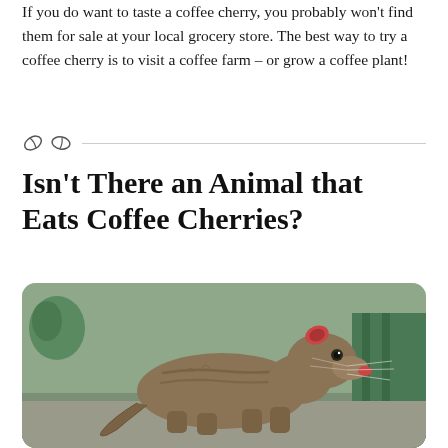If you do want to taste a coffee cherry, you probably won't find them for sale at your local grocery store. The best way to try a coffee cherry is to visit a coffee farm – or grow a coffee plant!
[Figure (other): Two coffee bean icons followed by a horizontal divider line]
Isn't There an Animal that Eats Coffee Cherries?
[Figure (photo): A civet (small mammal with brown fur, pointed snout, and reddish ear) sitting near a green wooden surface, with coffee cherries visible. The animal is associated with kopi luwak coffee production.]